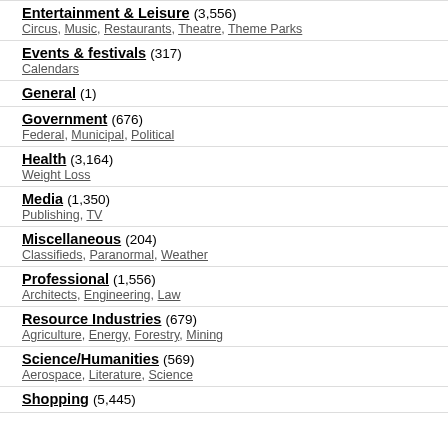Entertainment & Leisure (3,556) — Circus, Music, Restaurants, Theatre, Theme Parks
Events & festivals (317) — Calendars
General (1)
Government (676) — Federal, Municipal, Political
Health (3,164) — Weight Loss
Media (1,350) — Publishing, TV
Miscellaneous (204) — Classifieds, Paranormal, Weather
Professional (1,556) — Architects, Engineering, Law
Resource Industries (679) — Agriculture, Energy, Forestry, Mining
Science/Humanities (569) — Aerospace, Literature, Science
Shopping (5,445)